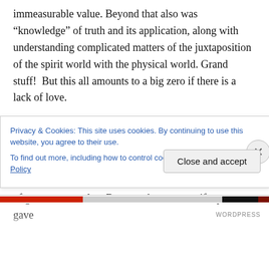immeasurable value. Beyond that also was “knowledge” of truth and its application, along with understanding complicated matters of the juxtaposition of the spirit world with the physical world. Grand stuff! But this all amounts to a big zero if there is a lack of love.
It is better than even the most extensive sacrifices of wealth and lifestyle.
So Paul looks away from possessions in verse 3 to the idea of giving away. Surely that is more honorable and of greater true value. But even here — even if a person gave
Privacy & Cookies: This site uses cookies. By continuing to use this website, you agree to their use.
To find out more, including how to control cookies, see here: Cookie Policy
Close and accept